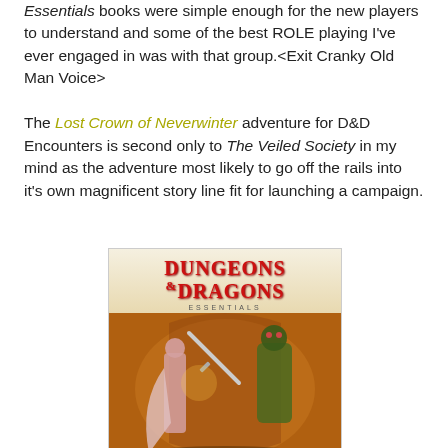Essentials books were simple enough for the new players to understand and some of the best ROLE playing I've ever engaged in was with that group.<Exit Cranky Old Man Voice>

The Lost Crown of Neverwinter adventure for D&D Encounters is second only to The Veiled Society in my mind as the adventure most likely to go off the rails into it's own magnificent story line fit for launching a campaign.
[Figure (illustration): Cover of Dungeons & Dragons Essentials book showing a warrior with a sword fighting monsters, with the red Dungeons & Dragons logo at the top and 'ESSENTIALS' subtitle.]